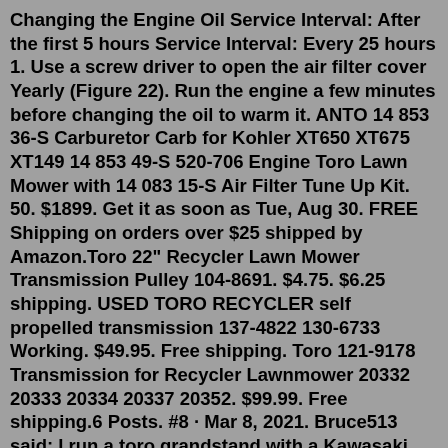Changing the Engine Oil Service Interval: After the first 5 hours Service Interval: Every 25 hours 1. Use a screw driver to open the air filter cover Yearly (Figure 22). Run the engine a few minutes before changing the oil to warm it. ANTO 14 853 36-S Carburetor Carb for Kohler XT650 XT675 XT149 14 853 49-S 520-706 Engine Toro Lawn Mower with 14 083 15-S Air Filter Tune Up Kit. 50. $1899. Get it as soon as Tue, Aug 30. FREE Shipping on orders over $25 shipped by Amazon.Toro 22" Recycler Lawn Mower Transmission Pulley 104-8691. $4.75. $6.25 shipping. USED TORO RECYCLER self propelled transmission 137-4822 130-6733 Working. $49.95. Free shipping. Toro 121-9178 Transmission for Recycler Lawnmower 20332 20333 20334 20337 20352. $99.99. Free shipping.6 Posts. #8 · Mar 8, 2021. Bruce513 said: I run a toro grandstand with a Kawasaki motor and it's bullet proof. I'm now shopping for a sit down zero turn. I was looking at exmark and toro. I noticed the toro now has a toro